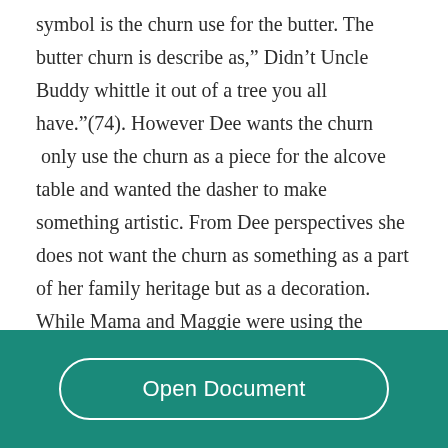symbol is the churn use for the butter. The butter churn is describe as," Didn’t Uncle Buddy whittle it out of a tree you all have.”(74). However Dee wants the churn  only use the churn as a piece for the alcove table and wanted the dasher to make something artistic. From Dee perspectives she does not want the churn as something as a part of her family heritage but as a decoration. While Mama and Maggie were using the churn for everyday
Open Document